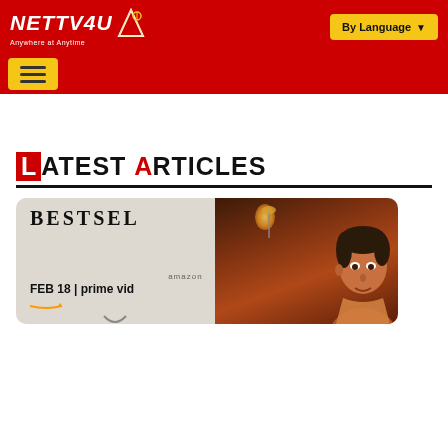[Figure (screenshot): NETTV4U website header with red background, white logo text 'NETTV4U' with tagline 'Anywhere at Anytime', and yellow 'By Language' dropdown button on the right]
[Figure (screenshot): Red navigation bar with yellow hamburger menu button]
Latest Articles
[Figure (photo): Article thumbnail showing 'BESTSELLER' text on left side with 'FEB 18 | prime video' and amazon logo, and a man's face on the right side against a dark reddish background with a lamp]